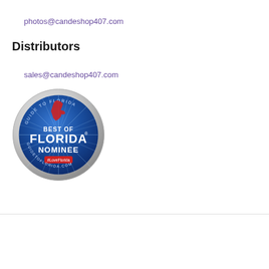photos@candeshop407.com
Distributors
sales@candeshop407.com
[Figure (logo): Best of Florida Nominee badge from Guide to Florida / GuidetoFlorida.com, blue circular badge with silver rim, featuring Florida state outline in red, text: BEST OF FLORIDA NOMINEE, #LoveFlorida]
CANDE SHOP | Designed by: Theme Freesia | © 2022 WordPress